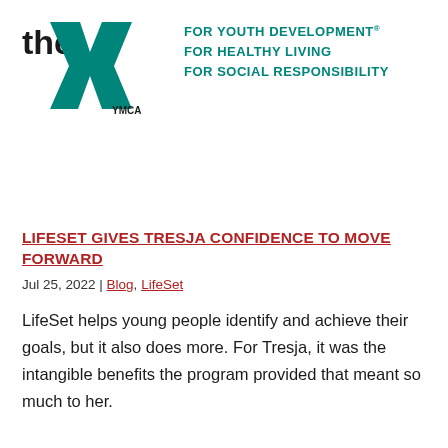[Figure (logo): YMCA logo: 'the' text with a teal Y-shaped chevron mark and 'YMCA' text below]
FOR YOUTH DEVELOPMENT® FOR HEALTHY LIVING FOR SOCIAL RESPONSIBILITY
LIFESET GIVES TRESJA CONFIDENCE TO MOVE FORWARD
Jul 25, 2022 | Blog, LifeSet
LifeSet helps young people identify and achieve their goals, but it also does more. For Tresja, it was the intangible benefits the program provided that meant so much to her.